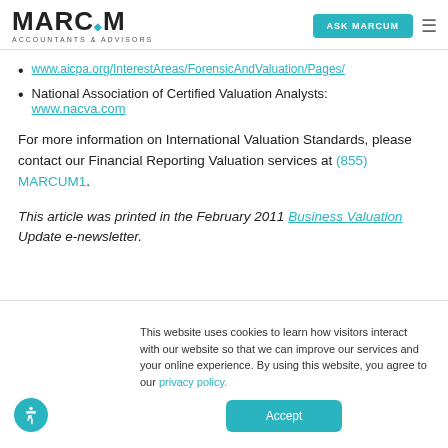MARCUM ACCOUNTANTS & ADVISORS | ASK MARCUM
www.aicpa.org/InterestAreas/ForensicAndValuation/Pages/...
National Association of Certified Valuation Analysts: www.nacva.com
For more information on International Valuation Standards, please contact our Financial Reporting Valuation services at (855) MARCUM1.
This article was printed in the February 2011 Business Valuation Update e-newsletter.
This website uses cookies to learn how visitors interact with our website so that we can improve our services and your online experience. By using this website, you agree to our privacy policy.